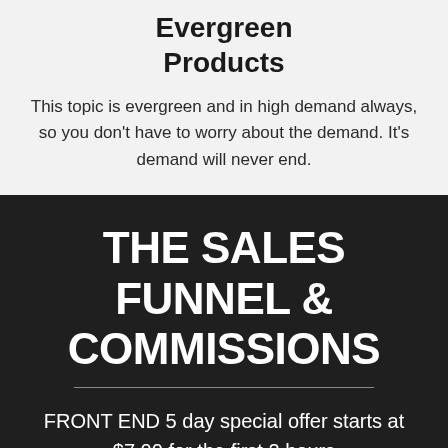Evergreen Products
This topic is evergreen and in high demand always, so you don't have to worry about the demand. It's demand will never end.
THE SALES FUNNEL & COMMISSIONS
FRONT END 5 day special offer starts at $7.00 for the first 2 hours